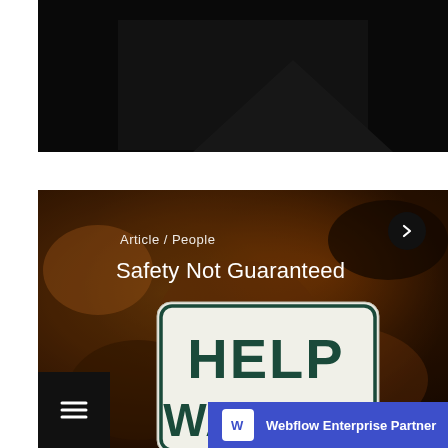[Figure (photo): Dark background image occupying the top portion of the page, appears to be a dark/black abstract or architectural photo]
[Figure (photo): Article card with rusty/textured orange-brown background showing a 'HELP WANTED' sign in the lower portion. Contains article category label 'Article / People', title 'Safety Not Guaranteed', a circular next arrow button in the top right, a hamburger menu icon button in the bottom left, and a 'Webflow Enterprise Partner' badge in the bottom right corner.]
Article / People
Safety Not Guaranteed